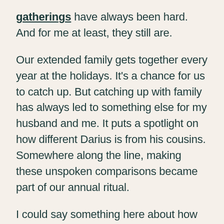gatherings have always been hard. And for me at least, they still are.
Our extended family gets together every year at the holidays. It's a chance for us to catch up. But catching up with family has always led to something else for my husband and me. It puts a spotlight on how different Darius is from his cousins. Somewhere along the line, making these unspoken comparisons became part of our annual ritual.
I could say something here about how being different is actually great, and sometimes it is. But sometimes, for us and for Darius, it just isn't.